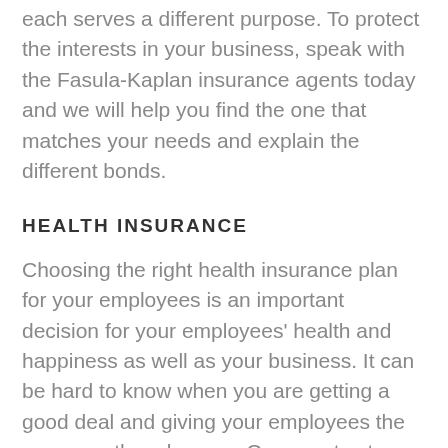each serves a different purpose. To protect the interests in your business, speak with the Fasula-Kaplan insurance agents today and we will help you find the one that matches your needs and explain the different bonds.
HEALTH INSURANCE
Choosing the right health insurance plan for your employees is an important decision for your employees' health and happiness as well as your business. It can be hard to know when you are getting a good deal and giving your employees the coverage they deserve. Our agents at Fasula-Kaplan make it easy by listening to your concerns and gathering the best quotes from several the Plans is and Sum Canada